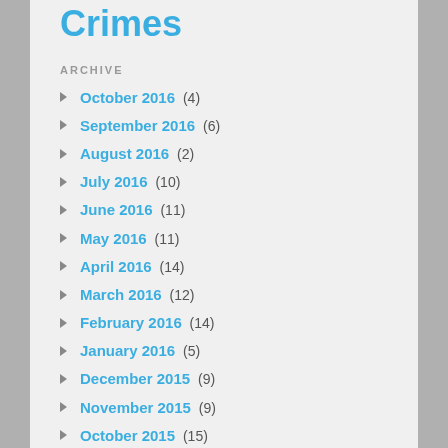Crimes
ARCHIVE
October 2016 (4)
September 2016 (6)
August 2016 (2)
July 2016 (10)
June 2016 (11)
May 2016 (11)
April 2016 (14)
March 2016 (12)
February 2016 (14)
January 2016 (5)
December 2015 (9)
November 2015 (9)
October 2015 (15)
September 2015 (11)
August 2015 (6)
July 2015 (14)
June 2015 (13)
May 2015 (12)